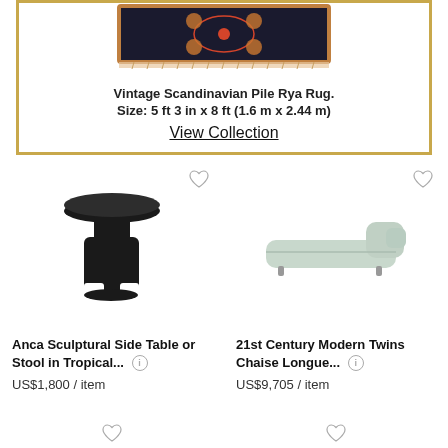[Figure (photo): Vintage Scandinavian Pile Rya Rug shown partially at top of a gold-bordered banner]
Vintage Scandinavian Pile Rya Rug. Size: 5 ft 3 in x 8 ft (1.6 m x 2.44 m)
View Collection
[Figure (photo): Anca Sculptural Side Table or Stool in Tropical — black sculptural side table with wide disc top and cylindrical base]
Anca Sculptural Side Table or Stool in Tropical...
US$1,800 / item
[Figure (photo): 21st Century Modern Twins Chaise Longue — light grey/mint modern chaise lounger]
21st Century Modern Twins Chaise Longue...
US$9,705 / item